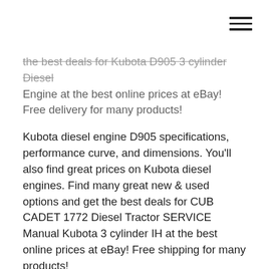[hamburger menu icon]
the best deals for Kubota D905 3 cylinder Diesel Engine at the best online prices at eBay! Free delivery for many products!
Kubota diesel engine D905 specifications, performance curve, and dimensions. You'll also find great prices on Kubota diesel engines. Find many great new & used options and get the best deals for CUB CADET 1772 Diesel Tractor SERVICE Manual Kubota 3 cylinder IH at the best online prices at eBay! Free shipping for many products!
Save this Book to Read kubota 3 cylinder diesel engine manual bobcat PDF eBook at our Online library. Get kubota 3 cylinder diesel engine...